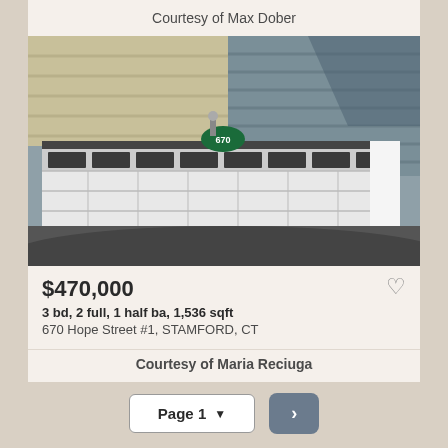Courtesy of Max Dober
[Figure (photo): Exterior photo of a residential property showing a white two-car garage door with windows at the top, grey/blue siding, and a green address sign reading 670.]
$470,000
3 bd, 2 full, 1 half ba, 1,536 sqft
670 Hope Street #1, STAMFORD, CT
Courtesy of Maria Reciuga
Page 1
>